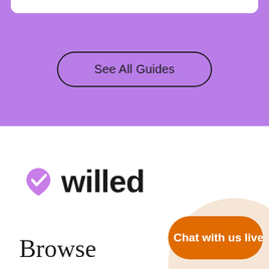[Figure (screenshot): Purple background section with a white card top edge and a 'See All Guides' button with rounded border]
See All Guides
[Figure (logo): Willed logo with purple heart/check icon and black 'willed' wordmark]
[Figure (other): Peach/cream large semicircle decorative background element]
Browse
[Figure (other): Orange 'Chat with us live' button with chat icon]